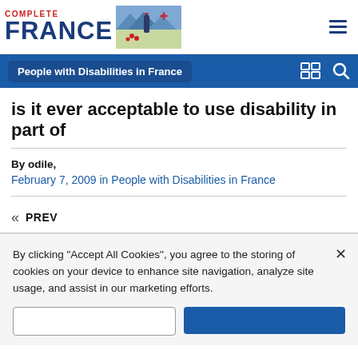[Figure (logo): Complete France logo with text and illustrated landscape showing bottle, mountains, and compass]
People with Disabilities in France
is it ever acceptable to use disability in part of
By odile,
February 7, 2009 in People with Disabilities in France
« PREV
By clicking “Accept All Cookies”, you agree to the storing of cookies on your device to enhance site navigation, analyze site usage, and assist in our marketing efforts.